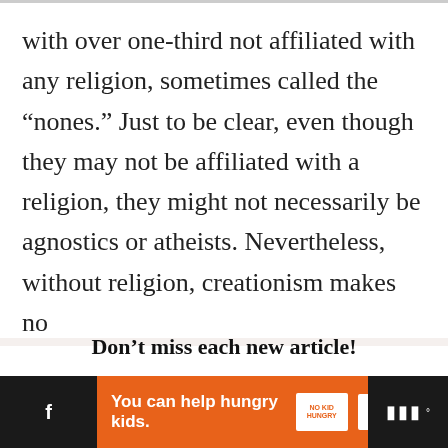with over one-third not affiliated with any religion, sometimes called the “nones.” Just to be clear, even though they may not be affiliated with a religion, they might not necessarily be agnostics or atheists. Nevertheless, without religion, creationism makes no
Don’t miss each new article!
Email Address *
[Figure (screenshot): Advertisement bar at the bottom: orange background with text 'You can help hungry kids.' and No Kid Hungry logo with LEARN HOW button. Black social media bar on left with Facebook icon and right side with icons.]